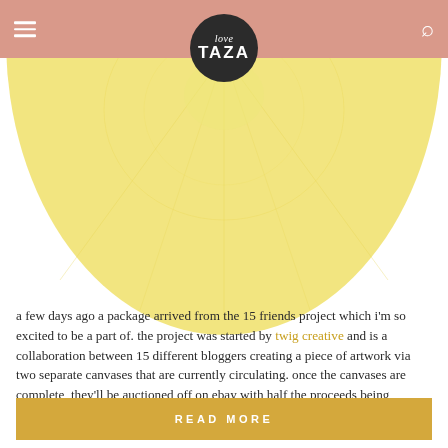love TAZA
[Figure (photo): Large yellow circle/lemon cross-section image partially visible at top of page, cropped]
a few days ago a package arrived from the 15 friends project which i'm so excited to be a part of. the project was started by twig creative and is a collaboration between 15 different bloggers creating a piece of artwork via two separate canvases that are currently circulating. once the canvases are complete, they'll be auctioned off on ebay with half the proceeds being donated to charity!...
READ MORE